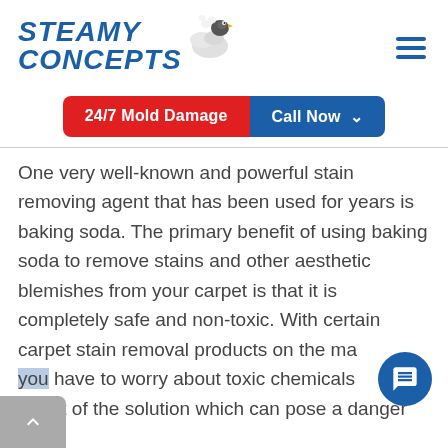[Figure (logo): Steamy Concepts logo with stylized blue bold italic text and a small steam/cloud icon]
[Figure (infographic): Red button labeled '24/7 Mold Damage' and blue button labeled 'Call Now' with dropdown arrow]
One very well-known and powerful stain removing agent that has been used for years is baking soda. The primary benefit of using baking soda to remove stains and other aesthetic blemishes from your carpet is that it is completely safe and non-toxic. With certain carpet stain removal products on the market you have to worry about toxic chemicals being a part of the solution which can pose a danger